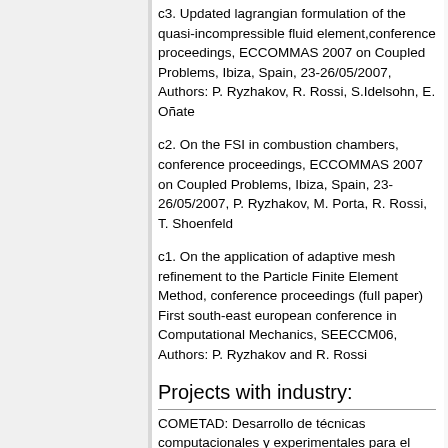c3. Updated lagrangian formulation of the quasi-incompressible fluid element,conference proceedings, ECCOMMAS 2007 on Coupled Problems, Ibiza, Spain, 23-26/05/2007, Authors: P. Ryzhakov, R. Rossi, S.Idelsohn, E. Oñate
c2. On the FSI in combustion chambers, conference proceedings, ECCOMMAS 2007 on Coupled Problems, Ibiza, Spain, 23-26/05/2007, P. Ryzhakov, M. Porta, R. Rossi, T. Shoenfeld
c1. On the application of adaptive mesh refinement to the Particle Finite Element Method, conference proceedings (full paper) First south-east european conference in Computational Mechanics, SEECCM06, Authors: P. Ryzhakov and R. Rossi
Projects with industry:
COMETAD: Desarrollo de técnicas computacionales y experimentales para el análisis y el diseño de polimeros retardantes al